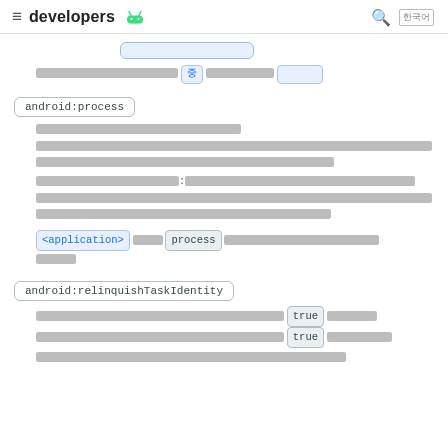≡ developers [android logo] 🔍 한국어
[redacted link]
[redacted text] 중 [redacted text] [redacted text]
android:process
[redacted paragraph text about android:process attribute]
<application> 의 process [redacted text describing process attribute behavior]
android:relinquishTaskIdentity
[redacted text] true [redacted text] true [redacted text]